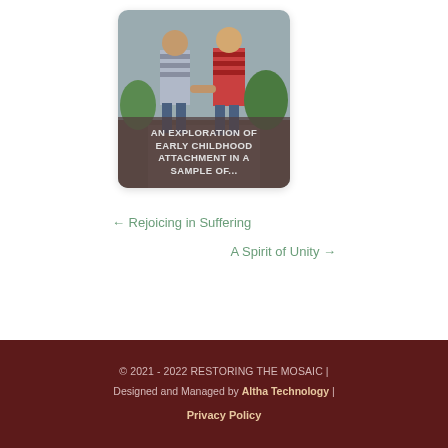[Figure (photo): Card with photo of children holding hands outdoors, with dark overlay text reading 'AN EXPLORATION OF EARLY CHILDHOOD ATTACHMENT IN A SAMPLE OF...']
← Rejoicing in Suffering
A Spirit of Unity →
© 2021 - 2022 RESTORING THE MOSAIC | Designed and Managed by Altha Technology | Privacy Policy